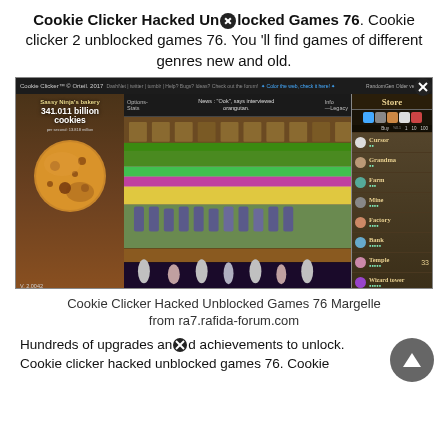Cookie Clicker Hacked Unblocked Games 76. Cookie clicker 2 unblocked games 76. You'll find games of different genres new and old.
[Figure (screenshot): Screenshot of Cookie Clicker game version 2.0042 showing the main game interface with a large cookie, 341.011 billion cookies count, a game scene with farms and rockets, and a store panel on the right listing Cursor, Grandma, Farm, Mine, Factory, Bank, Temple, Wizard tower items.]
Cookie Clicker Hacked Unblocked Games 76 Margelle from ra7.rafida-forum.com
Hundreds of upgrades and achievements to unlock. Cookie clicker hacked unblocked games 76. Cookie